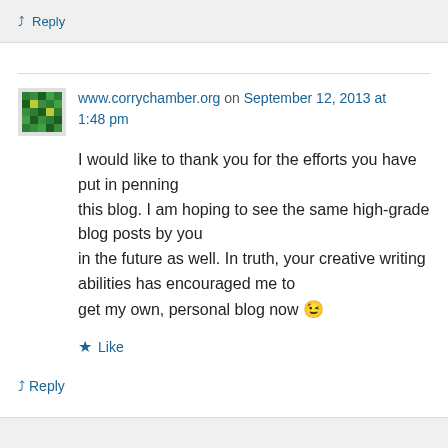↳ Reply
www.corrychamber.org on September 12, 2013 at 1:48 pm
I would like to thank you for the efforts you have put in penning this blog. I am hoping to see the same high-grade blog posts by you in the future as well. In truth, your creative writing abilities has encouraged me to get my own, personal blog now 😉
★ Like
↳ Reply